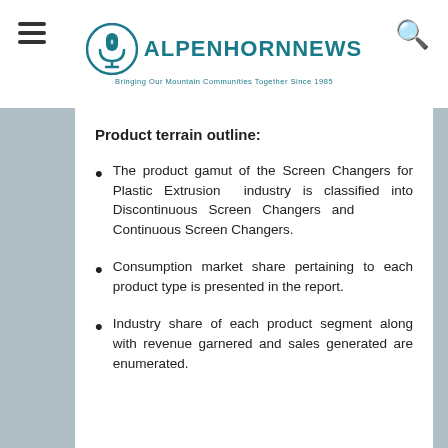ALPENHORNNEWS — Bringing Our Mountain Communities Together Since 1985
Product terrain outline:
The product gamut of the Screen Changers for Plastic Extrusion industry is classified into Discontinuous Screen Changers and Continuous Screen Changers.
Consumption market share pertaining to each product type is presented in the report.
Industry share of each product segment along with revenue garnered and sales generated are enumerated.